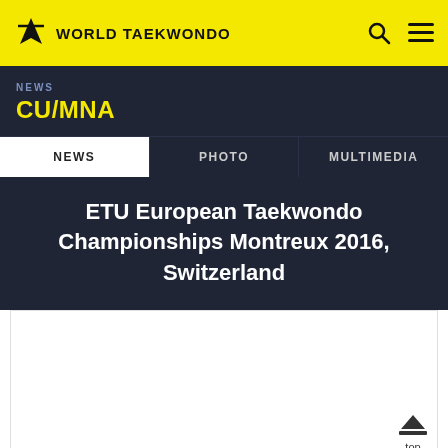WORLD TAEKWONDO
CU/MNA
NEWS
NEWS | PHOTO | MULTIMEDIA
ETU European Taekwondo Championships Montreux 2016, Switzerland
[Figure (photo): White blank image area below the article title]